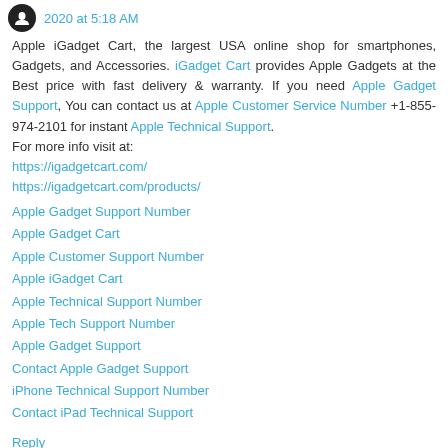2020 at 5:18 AM
Apple iGadget Cart, the largest USA online shop for smartphones, Gadgets, and Accessories. iGadget Cart provides Apple Gadgets at the Best price with fast delivery & warranty. If you need Apple Gadget Support, You can contact us at Apple Customer Service Number +1-855-974-2101 for instant Apple Technical Support.
For more info visit at:
https://igadgetcart.com/
https://igadgetcart.com/products/
Apple Gadget Support Number
Apple Gadget Cart
Apple Customer Support Number
Apple iGadget Cart
Apple Technical Support Number
Apple Tech Support Number
Apple Gadget Support
Contact Apple Gadget Support
iPhone Technical Support Number
Contact iPad Technical Support
Reply